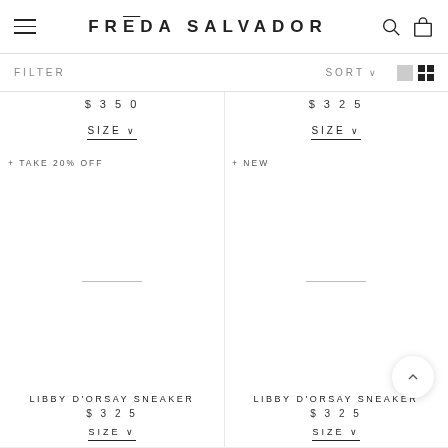FRĒDA SALVADOR
FILTER   SORT ∨
$350
SIZE ∨
$325
SIZE ∨
+ TAKE 20% OFF
+ NEW
LIBBY D'ORSAY SNEAKER
$325
SIZE ∨
LIBBY D'ORSAY SNEAKER
$325
SIZE ∨